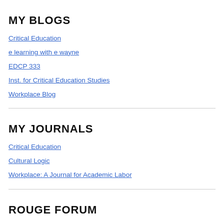MY BLOGS
Critical Education
e learning with e wayne
EDCP 333
Inst. for Critical Education Studies
Workplace Blog
MY JOURNALS
Critical Education
Cultural Logic
Workplace: A Journal for Academic Labor
ROUGE FORUM
Rouge Forum
Rouge Forum Blog